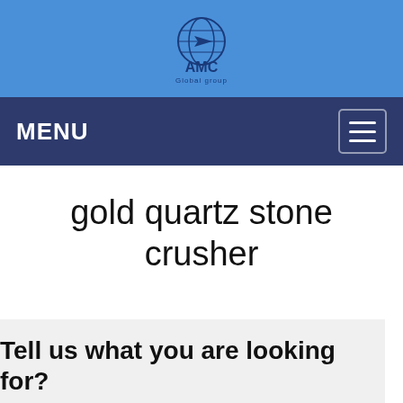[Figure (logo): AMC Global company logo — globe icon above text 'AMC' and 'Global group' on a blue background]
MENU
gold quartz stone crusher
Tell us what you are looking for?
Please fill in and submit the following form, our service team will contact you as soon as possible and provide a complete solution.